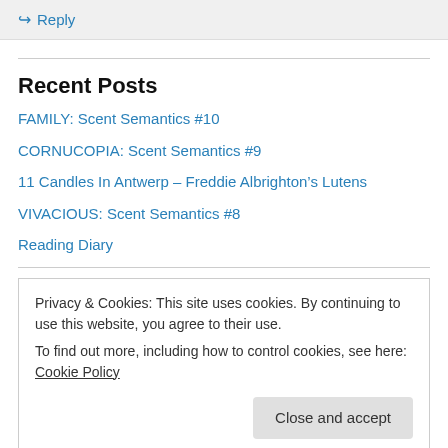↳ Reply
Recent Posts
FAMILY: Scent Semantics #10
CORNUCOPIA: Scent Semantics #9
11 Candles In Antwerp – Freddie Albrighton's Lutens
VIVACIOUS: Scent Semantics #8
Reading Diary
Privacy & Cookies: This site uses cookies. By continuing to use this website, you agree to their use. To find out more, including how to control cookies, see here: Cookie Policy
Close and accept